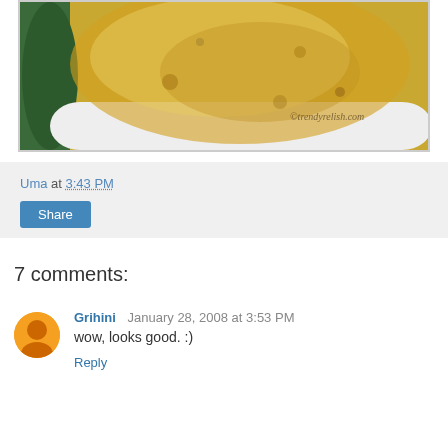[Figure (photo): Close-up photo of a flatbread (paratha/roti) on a plate with a dark green plate edge visible on the left. Watermark reads ©trendyrelish.com]
Uma at 3:43 PM
Share
7 comments:
Grihini  January 28, 2008 at 3:53 PM
wow, looks good. :)
Reply